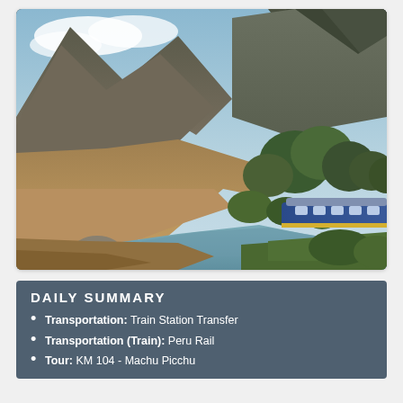[Figure (photo): Scenic Andean landscape with a blue train running along a river valley, rocky hillsides with sparse vegetation, green trees, and dramatic mountain peaks under a partly cloudy sky.]
DAILY SUMMARY
Transportation: Train Station Transfer
Transportation (Train): Peru Rail
Tour: KM 104 - Machu Picchu